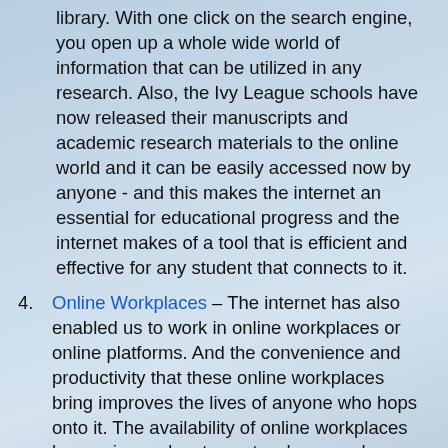library. With one click on the search engine, you open up a whole wide world of information that can be utilized in any research. Also, the Ivy League schools have now released their manuscripts and academic research materials to the online world and it can be easily accessed now by anyone - and this makes the internet an essential for educational progress and the internet makes of a tool that is efficient and effective for any student that connects to it.
4. Online Workplaces – The internet has also enabled us to work in online workplaces or online platforms. And the convenience and productivity that these online workplaces bring improves the lives of anyone who hops onto it. The availability of online workplaces has various advantages to whoever who uses it. For students, they can utilize online workplaces to be able to work with their classmates or groupmates at the comfort of their own homes, and they can now say goodbye to the days where they have to physically meet up to do their assignments. And as per employees, they can now utilize online workplaces to actually acquire and work from employers who are in